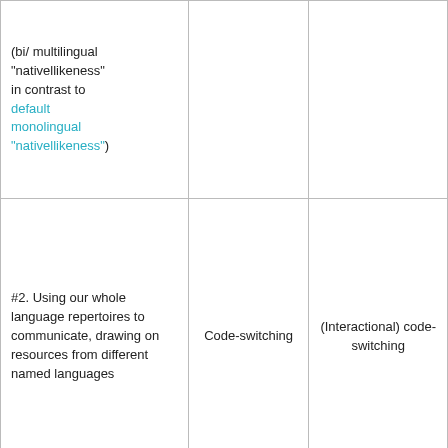| (bi/ multilingual "nativellikeness" in contrast to default monolingual "nativellikeness") |  |  |
| #2. Using our whole language repertoires to communicate, drawing on resources from different named languages | Code-switching | (Interactional) code-switching |